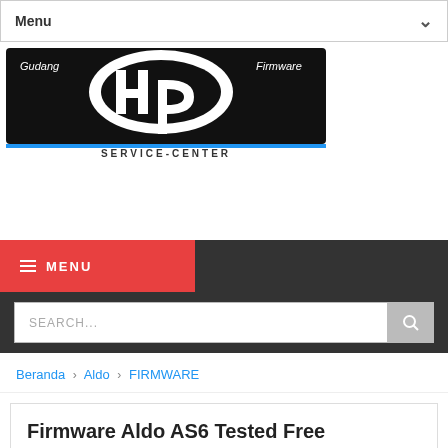Menu
[Figure (logo): HP Gudang Firmware Service Center logo — white HP logo on black background with blue underline and 'SERVICE-CENTER' text below]
≡ MENU
SEARCH...
Beranda › Aldo › FIRMWARE
Firmware Aldo AS6 Tested Free Download
Aldo, FIRMWARE